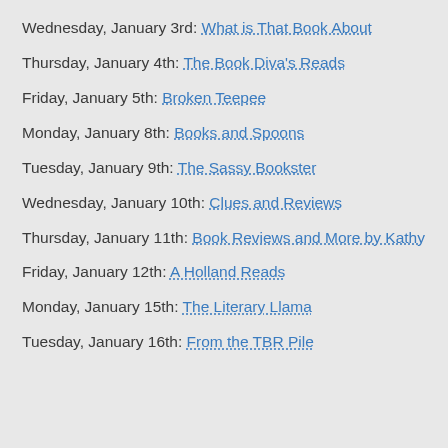Wednesday, January 3rd: What is That Book About
Thursday, January 4th: The Book Diva's Reads
Friday, January 5th: Broken Teepee
Monday, January 8th: Books and Spoons
Tuesday, January 9th: The Sassy Bookster
Wednesday, January 10th: Clues and Reviews
Thursday, January 11th: Book Reviews and More by Kathy
Friday, January 12th: A Holland Reads
Monday, January 15th: The Literary Llama
Tuesday, January 16th: From the TBR Pile